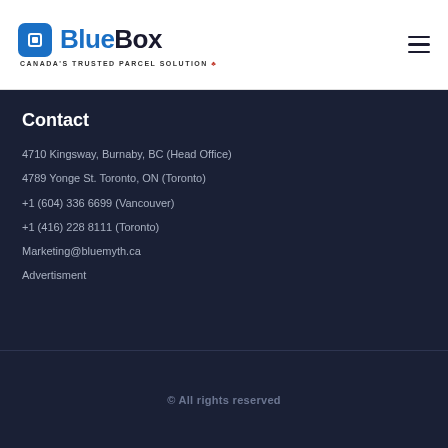[Figure (logo): BlueBox logo with icon and tagline 'Canada's Trusted Parcel Solution']
Contact
4710 Kingsway, Burnaby, BC (Head Office)
4789 Yonge St. Toronto, ON (Toronto)
+1 (604) 336 6699 (Vancouver)
+1 (416) 228 8111 (Toronto)
Marketing@bluemyth.ca
Advertisment
© All rights reserved